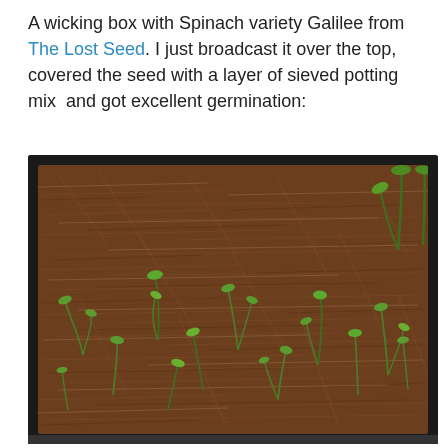A wicking box with Spinach variety Galilee from The Lost Seed. I just broadcast it over the top, covered the seed with a layer of sieved potting mix  and got excellent germination:
[Figure (photo): A black rectangular wicking box planter filled with fibrous brown potting mix / coco peat, showing numerous small green spinach seedlings sprouting up throughout. The box has dark plastic walls and appears to be sitting on a surface outdoors. There are a few taller green plants visible at the upper right corner.]